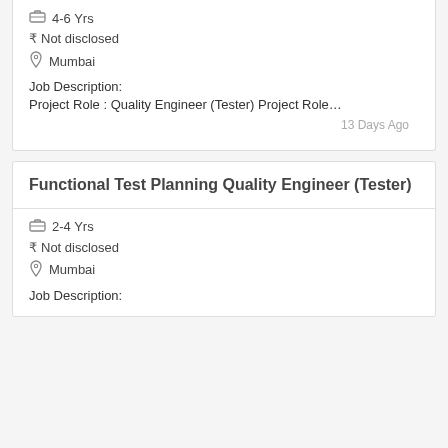4-6 Yrs
₹ Not disclosed
Mumbai
Job Description:
Project Role : Quality Engineer (Tester) Project Role…
13 Days Ago
Functional Test Planning Quality Engineer (Tester)
2-4 Yrs
₹ Not disclosed
Mumbai
Job Description: